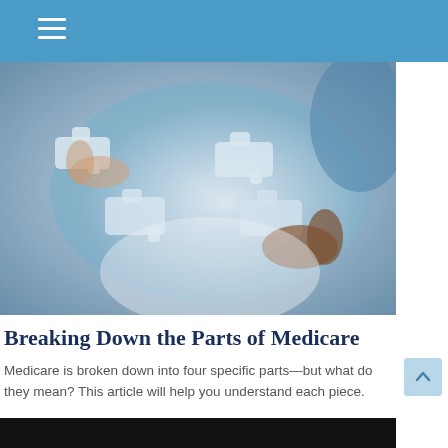[Figure (photo): Multiple hands holding white puzzle pieces, collaborating to fit them together, blurred blue background suggesting a medical or teamwork setting.]
Breaking Down the Parts of Medicare
Medicare is broken down into four specific parts—but what do they mean? This article will help you understand each piece.